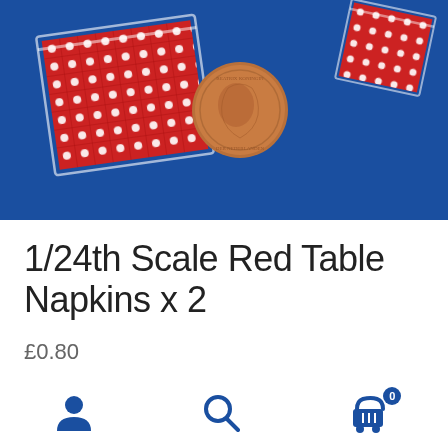[Figure (photo): Product photo showing two small red and white gingham/polka-dot fabric napkins in a clear plastic bag, with a copper coin for scale, on a blue background]
1/24th Scale Red Table Napkins x 2
£0.80